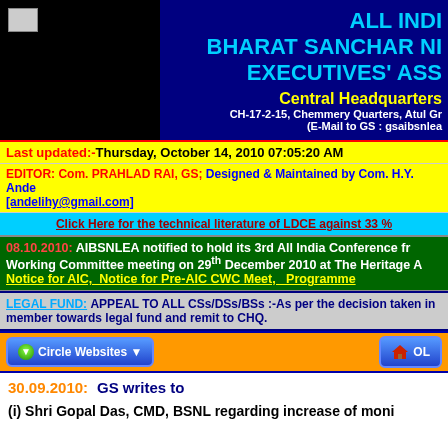ALL INDIA BHARAT SANCHAR NIGAM EXECUTIVES' ASSOCIATION - Central Headquarters
CH-17-2-15, Chemmery Quarters, Atul Gr... (E-Mail to GS : gsaibsnlea...)
Last updated:-Thursday, October 14, 2010 07:05:20 AM
EDITOR: Com. PRAHLAD RAI, GS; Designed & Maintained by Com. H.Y. Ande... [andelihy@gmail.com]
Click Here for the technical literature of LDCE against 33 %...
08.10.2010: AIBSNLEA notified to hold its 3rd All India Conference fr... Working Committee meeting on 29th December 2010 at The Heritage A... Notice for AIC, Notice for Pre-AIC CWC Meet, Programme
LEGAL FUND: APPEAL TO ALL CSs/DSs/BSs :-As per the decision taken in... member towards legal fund and remit to CHQ.
Circle Websites | OL...
30.09.2010: GS writes to
(i) Shri Gopal Das, CMD, BSNL regarding increase of moni...